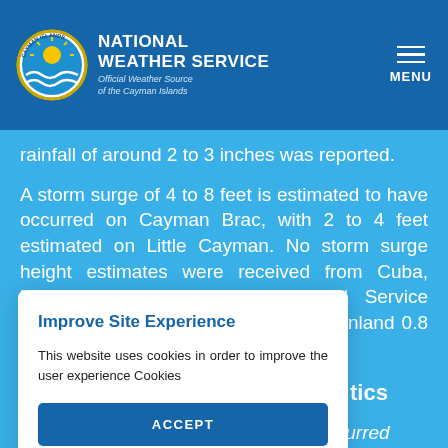NATIONAL WEATHER SERVICE
Official Weather Source of the Cayman Islands
rainfall of around 2 to 3 inches was reported.
A storm surge of 4 to 8 feet is estimated to have occurred on Cayman Brac, with 2 to 4 feet estimated on Little Cayman. No storm surge height estimates were received from Cuba, however the Cuban Meteorological Service reported that storm surge penetrated inland 0.8 n mi in Santa Cruz del
tics
reported in
[Figure (screenshot): Cookie consent modal popup with title 'Improve Site Experience', body text 'This website uses cookies in order to improve the user experience Cookies', and an ACCEPT button]
The greatest impacts from Paloma occurred